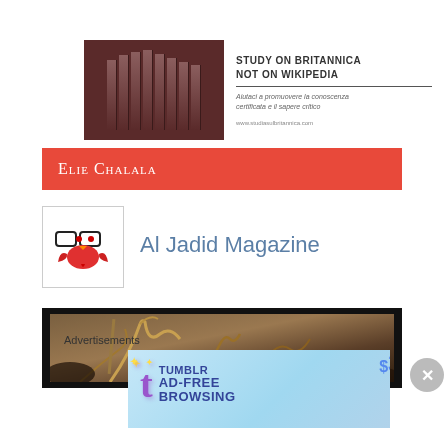[Figure (illustration): Britannica advertisement banner — books on left, text 'STUDY ON BRITANNICA NOT ON WIKIPEDIA' on right with Italian tagline and URL]
Elie Chalala
[Figure (logo): Al Jadid Magazine logo — stylized red bird/letter graphic in a box]
Al Jadid Magazine
[Figure (photo): Dark photographic image with tree branches, brown and dark tones, framed in black]
Advertisements
[Figure (illustration): Tumblr Ad-Free Browsing advertisement — $39.99 a year or $4.99 a month, blue gradient background with purple Tumblr logo]